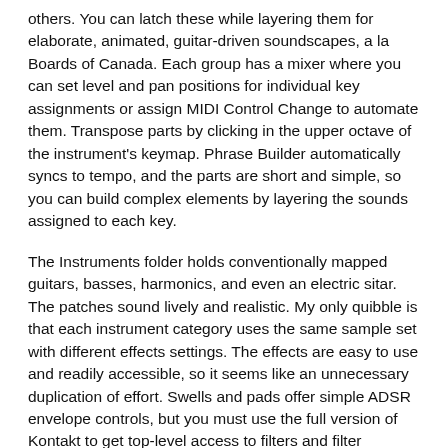others. You can latch these while layering them for elaborate, animated, guitar-driven soundscapes, a la Boards of Canada. Each group has a mixer where you can set level and pan positions for individual key assignments or assign MIDI Control Change to automate them. Transpose parts by clicking in the upper octave of the instrument's keymap. Phrase Builder automatically syncs to tempo, and the parts are short and simple, so you can build complex elements by layering the sounds assigned to each key.
The Instruments folder holds conventionally mapped guitars, basses, harmonics, and even an electric sitar. The patches sound lively and realistic. My only quibble is that each instrument category uses the same sample set with different effects settings. The effects are easy to use and readily accessible, so it seems like an unnecessary duplication of effort. Swells and pads offer simple ADSR envelope controls, but you must use the full version of Kontakt to get top-level access to filters and filter envelopes. (Apollo ships with Kontakt 5 Player.)
Most of the swells and pads are derived from assorted pedals, bowing, e-bows, and similar techniques. Remarkably, individual notes sound and behave differently, with maybe one sample spitting out subtle amounts of feedback at a slightly different